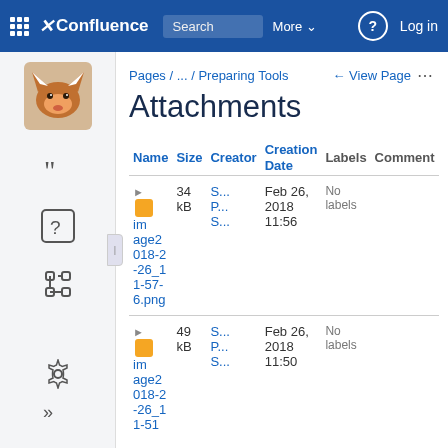Confluence | Search | More | ? | Log in
Pages / ... / Preparing Tools ← View Page ...
Attachments
| Name | Size | Creator | Creation Date | Labels | Comment |
| --- | --- | --- | --- | --- | --- |
| > image2018-2-26_11-57-6.png | 34 kB | S... P... S... | Feb 26, 2018 11:56 | No labels |  |
| > image2018-2-26_1 1-51... | 49 kB | S... P... S... | Feb 26, 2018 11:50 | No labels |  |